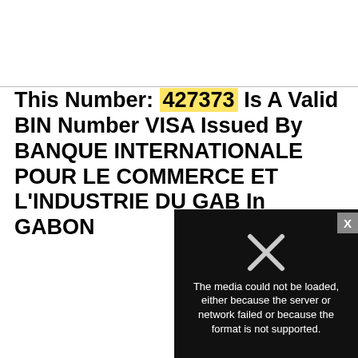This Number: 427373 Is A Valid BIN Number VISA Issued By BANQUE INTERNATIONALE POUR LE COMMERCE ET L'INDUSTRIE DU GAB In GABON
[Figure (other): Black video player overlay showing error message: 'The media could not be loaded, either because the server or network failed or because the format is not supported.' with an X close button in the top right corner.]